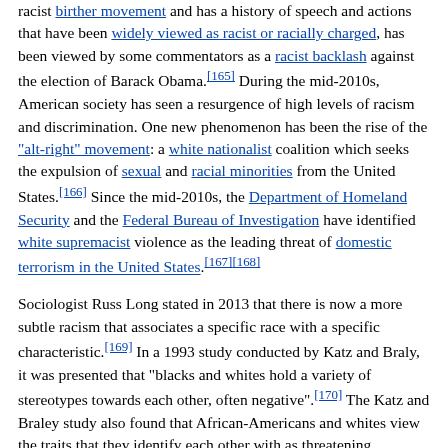racist birther movement and has a history of speech and actions that have been widely viewed as racist or racially charged, has been viewed by some commentators as a racist backlash against the election of Barack Obama.[165] During the mid-2010s, American society has seen a resurgence of high levels of racism and discrimination. One new phenomenon has been the rise of the "alt-right" movement: a white nationalist coalition which seeks the expulsion of sexual and racial minorities from the United States.[166] Since the mid-2010s, the Department of Homeland Security and the Federal Bureau of Investigation have identified white supremacist violence as the leading threat of domestic terrorism in the United States.[167][168]
Sociologist Russ Long stated in 2013 that there is now a more subtle racism that associates a specific race with a specific characteristic.[169] In a 1993 study conducted by Katz and Braly, it was presented that "blacks and whites hold a variety of stereotypes towards each other, often negative".[170] The Katz and Braley study also found that African-Americans and whites view the traits that they identify each other with as threatening, interracial communication between the two is likely to be "hesitant, reserved, and concealing".[170]
The Black Lives Matter movement started in 2013 after the